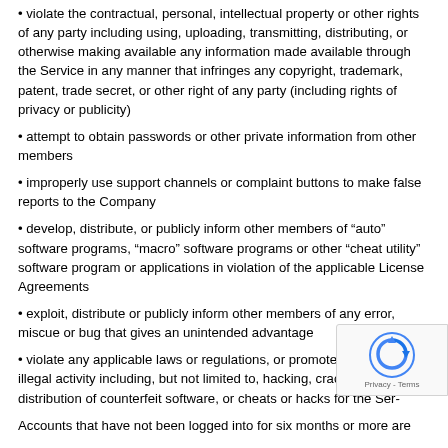• violate the contractual, personal, intellectual property or other rights of any party including using, uploading, transmitting, distributing, or otherwise making available any information made available through the Service in any manner that infringes any copyright, trademark, patent, trade secret, or other right of any party (including rights of privacy or publicity)
• attempt to obtain passwords or other private information from other members
• improperly use support channels or complaint buttons to make false reports to the Company
• develop, distribute, or publicly inform other members of “auto” software programs, “macro” software programs or other “cheat utility” software program or applications in violation of the applicable License Agreements
• exploit, distribute or publicly inform other members of any error, miscue or bug that gives an unintended advantage
• violate any applicable laws or regulations, or promote or encourage any illegal activity including, but not limited to, hacking, cracking, distribution of counterfeit software, or cheats or hacks for the Service
Accounts that have not been logged into for six months or more are